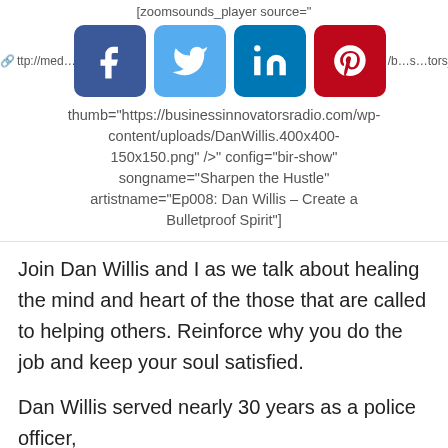[zoomsounds_player source="
http://med...or.../b...s...tors_radi
[Figure (other): Social media share icons: Facebook, Twitter, LinkedIn, Pinterest]
thumb="https://businessinnovatorsradio.com/wp-content/uploads/DanWillis.400x400-150x150.png" />" config="bir-show" songname="Sharpen the Hustle" artistname="Ep008: Dan Willis – Create a Bulletproof Spirit"]
Join Dan Willis and I as we talk about healing the mind and heart of the those that are called to helping others. Reinforce why you do the job and keep your soul satisfied.
Dan Willis served nearly 30 years as a police officer, retiring as a Captain from the...